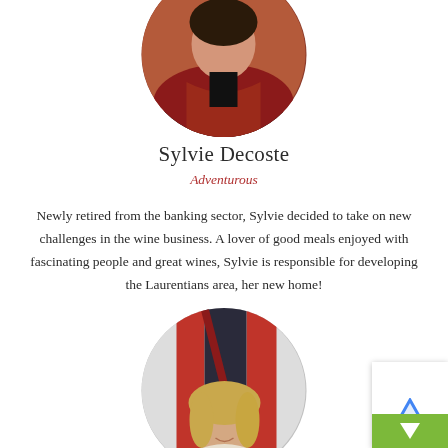[Figure (photo): Circular cropped portrait photo of Sylvie Decoste, a woman wearing a red coat, shown from the upper body up, partially visible at the top of the page.]
Sylvie Decoste
Adventurous
Newly retired from the banking sector, Sylvie decided to take on new challenges in the wine business. A lover of good meals enjoyed with fascinating people and great wines, Sylvie is responsible for developing the Laurentians area, her new home!
[Figure (photo): Circular cropped portrait photo of a younger woman with blonde hair, smiling, standing in front of a red structure, partially visible at the bottom of the page.]